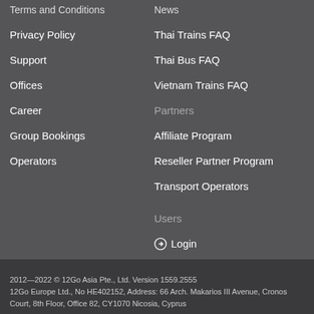Terms and Conditions
Privacy Policy
Support
Offices
Career
Group Bookings
Operators
News
Thai Trains FAQ
Thai Bus FAQ
Vietnam Trains FAQ
Partners
Affiliate Program
Reseller Partner Program
Transport Operators
Users
➡ Login
🌐 English
$•USD
2012—2022 © 12Go Asia Pte., Ltd. Version 1559.2555
12Go Europe Ltd., No HE402152, Address: 66 Arch. Makarios III Avenue, Cronos Court, 8th Floor, Office 82, CY1070 Nicosia, Cyprus